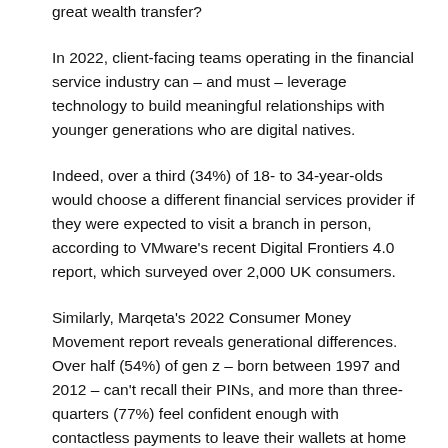great wealth transfer?
In 2022, client-facing teams operating in the financial service industry can – and must – leverage technology to build meaningful relationships with younger generations who are digital natives.
Indeed, over a third (34%) of 18- to 34-year-olds would choose a different financial services provider if they were expected to visit a branch in person, according to VMware's recent Digital Frontiers 4.0 report, which surveyed over 2,000 UK consumers.
Similarly, Marqeta's 2022 Consumer Money Movement report reveals generational differences. Over half (54%) of gen z – born between 1997 and 2012 – can't recall their PINs, and more than three-quarters (77%) feel confident enough with contactless payments to leave their wallets at home